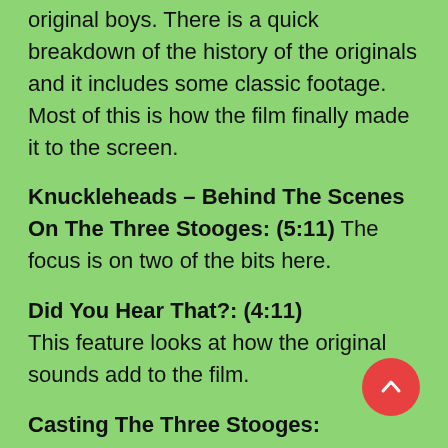original boys. There is a quick breakdown of the history of the originals and it includes some classic footage. Most of this is how the film finally made it to the screen.
Knuckleheads – Behind The Scenes On The Three Stooges: (5:11) The focus is on two of the bits here.
Did You Hear That?: (4:11) This feature looks at how the original sounds add to the film.
Casting The Three Stooges: (9:12) There's plenty of screen